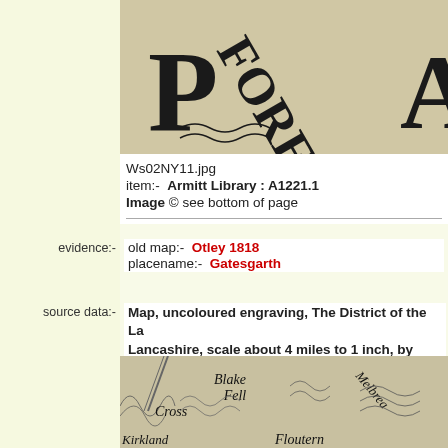[Figure (photo): Close-up of an old map showing large serif letter P and partial letters FORE and A on aged paper with wavy lines]
Ws02NY11.jpg
item:-  Armitt Library : A1221.1
Image © see bottom of page
evidence:-  old map:- Otley 1818
placename:-  Gatesgarth
source data:-  Map, uncoloured engraving, The District of the La...
Lancashire, scale about 4 miles to 1 inch, by Jonat...
Menzies, Edinburgh, Scotland, published by Jonat...
[Figure (map): Detail of old engraved map showing Blake Fell, Cross, Melbrea, Kirkland, Floutern areas in the Lake District]